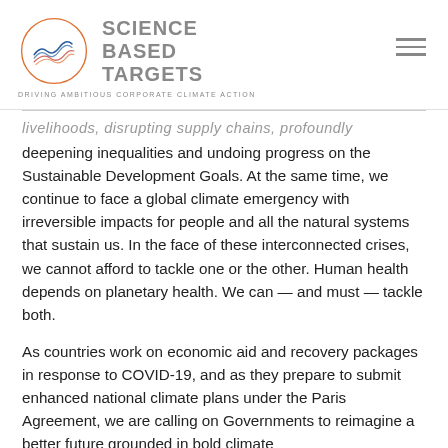SCIENCE BASED TARGETS — DRIVING AMBITIOUS CORPORATE CLIMATE ACTION
livelihoods, disrupting supply chains, profoundly deepening inequalities and undoing progress on the Sustainable Development Goals. At the same time, we continue to face a global climate emergency with irreversible impacts for people and all the natural systems that sustain us. In the face of these interconnected crises, we cannot afford to tackle one or the other. Human health depends on planetary health. We can — and must — tackle both.
As countries work on economic aid and recovery packages in response to COVID-19, and as they prepare to submit enhanced national climate plans under the Paris Agreement, we are calling on Governments to reimagine a better future grounded in bold climate